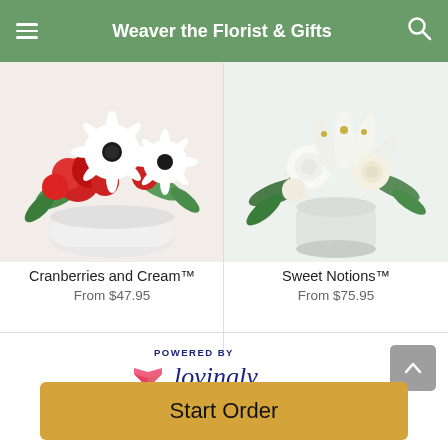Weaver the Florist & Gifts
[Figure (photo): Cranberries and Cream floral arrangement with red carnations and white gerbera daisies in a white pot]
Cranberries and Cream™
From $47.95
[Figure (photo): Sweet Notions floral arrangement with white lilies and roses in a white vase]
Sweet Notions™
From $75.95
POWERED BY lovingly
Start Order